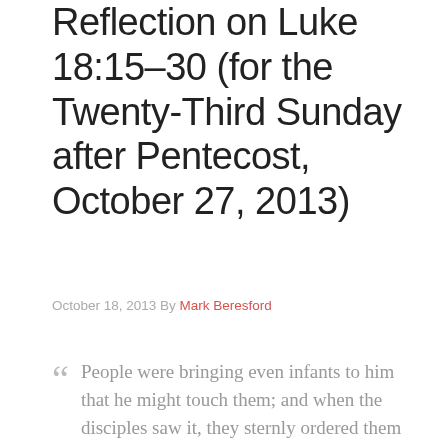Reflection on Luke 18:15-30 (for the Twenty-Third Sunday after Pentecost, October 27, 2013)
October 18, 2013 By Mark Beresford
" People were bringing even infants to him that he might touch them; and when the disciples saw it, they sternly ordered them not to do it. But Jesus called for them and said, 'Let the little children come to me, and do not stop them; for it is to such as these that the kingdom of God belongs. Truly I tell you, whoever does not receive the kingdom of God as a little child will never enter it.'